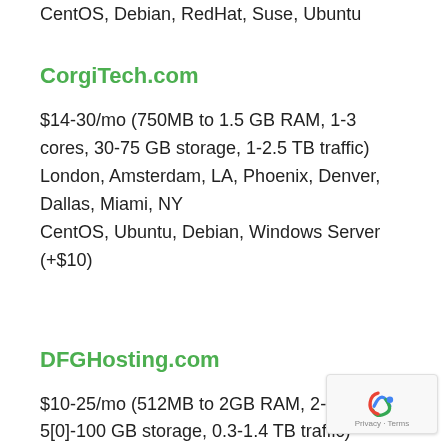CentOS, Debian, RedHat, Suse, Ubuntu
CorgiTech.com
$14-30/mo (750MB to 1.5 GB RAM, 1-3 cores, 30-75 GB storage, 1-2.5 TB traffic)
London, Amsterdam, LA, Phoenix, Denver, Dallas, Miami, NY
CentOS, Ubuntu, Debian, Windows Server (+$10)
DFGHosting.com
$10-25/mo (512MB to 2GB RAM, 2-4 cores, 5[0]-100 GB storage, 0.3-1.4 TB traffic)